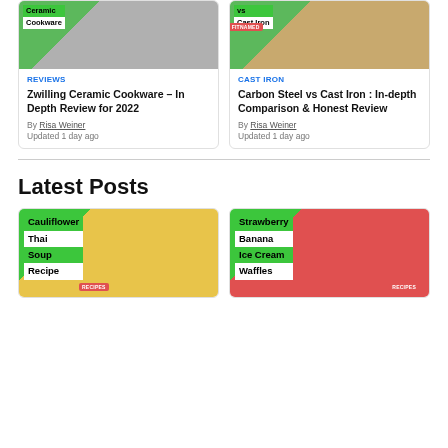[Figure (photo): Image of ceramic cookware with green overlay and title text]
REVIEWS
Zwilling Ceramic Cookware – In Depth Review for 2022
By Risa Weiner
Updated 1 day ago
[Figure (photo): Image of carbon steel vs cast iron pans with green overlay]
CAST IRON
Carbon Steel vs Cast Iron : In-depth Comparison & Honest Review
By Risa Weiner
Updated 1 day ago
Latest Posts
[Figure (photo): Image of Cauliflower Thai Soup Recipe with green overlay]
[Figure (photo): Image of Strawberry Banana Ice Cream Waffles with green overlay]